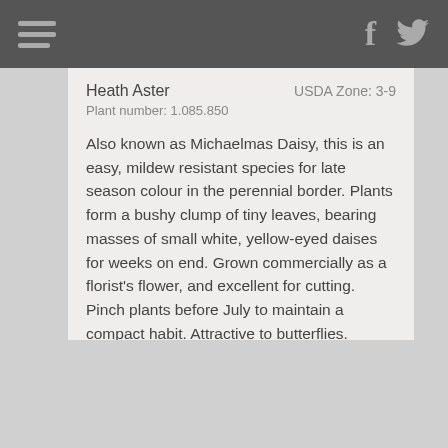Heath Aster | USDA Zone: 3-9 | Plant number: 1.085.850
Also known as Michaelmas Daisy, this is an easy, mildew resistant species for late season colour in the perennial border. Plants form a bushy clump of tiny leaves, bearing masses of small white, yellow-eyed daises for weeks on end. Grown commercially as a florist's flower, and excellent for cutting. Pinch plants before July to maintain a compact habit. Attractive to butterflies. Tolerates dry soil better than most aster selections. Divide plants every two to four years to maintain vigour.
Further details for Aster ericoides